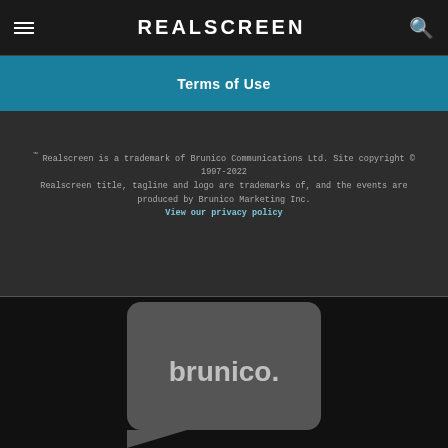REALSCREEN
Terms of Use
™ Realscreen is a trademark of Brunico Communications Ltd. Site copyright © 1997-2022 Realscreen title, tagline and logo are trademarks of, and the events are produced by Brunico Marketing Inc. View our privacy policy
[Figure (logo): Brunico logo - rounded rectangle with 'brunico.' wordmark in light gray on dark gray background]